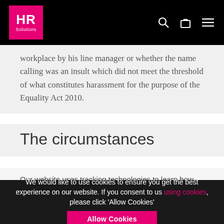HR Solutions — navigation bar with logo, search, bag, and menu icons
workplace by his line manager or whether the name calling was an insult which did not meet the threshold of what constitutes harassment for the purpose of the Equality Act 2010.
The circumstances
Our website uses tracking technologies to learn how our visitors interact with our site so that we can improve our services and provide
We would like to use cookies to ensure you get the best experience on our website. If you consent to us using cookies, please click 'Allow Cookies'
Allow Cookies